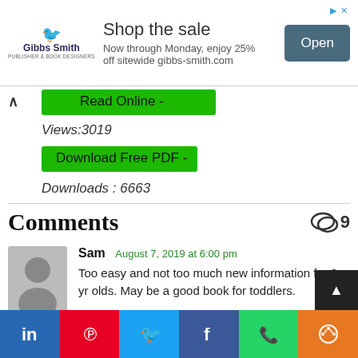[Figure (screenshot): Advertisement banner for Gibbs Smith publisher. Shows logo with orange bird, text 'Shop the sale - Now through Monday, enjoy 25% off sitewide gibbs-smith.com', and an 'Open' button in teal/slate color.]
Read Online -
Views:3019
Download Free PDF -
Downloads : 6663
Comments
Sam  August 7, 2019 at 6:00 pm
Too easy and not too much new information for 9 yr olds. May be a good book for toddlers.
[Figure (infographic): Social media share bar at bottom with LinkedIn, Pinterest, Twitter, Facebook, WhatsApp, and share icons.]